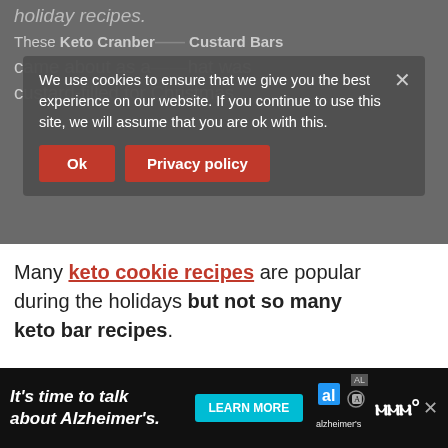holiday recipes.
We use cookies to ensure that we give you the best experience on our website. If you continue to use this site, we will assume that you are ok with this.
These Keto Cranberry and Orange Custard Bars came about as a holiday request that was custard-filled for Christmas.
Many keto cookie recipes are popular during the holidays but not so many keto bar recipes.
[Figure (screenshot): Cookie consent banner with Ok and Privacy policy buttons over dimmed content]
[Figure (screenshot): What's Next card showing Keto Italian Eggplant... with thumbnail]
[Figure (screenshot): Alzheimer's awareness advertisement banner at bottom of page]